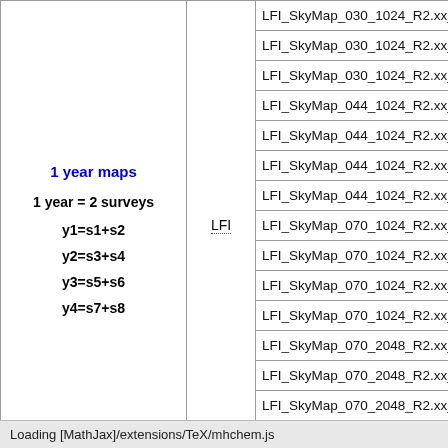|  | Instrument | Filename |
| --- | --- | --- |
|  | LFI | LFI_SkyMap_030_1024_R2.xx_year-2.fi |
|  | LFI | LFI_SkyMap_030_1024_R2.xx_year-3.fi |
|  | LFI | LFI_SkyMap_030_1024_R2.xx_year-4.fi |
|  | LFI | LFI_SkyMap_044_1024_R2.xx_year-1.fi |
|  | LFI | LFI_SkyMap_044_1024_R2.xx_year-2.fi |
|  | LFI | LFI_SkyMap_044_1024_R2.xx_year-3.fi |
|  | LFI | LFI_SkyMap_044_1024_R2.xx_year-4.fi |
|  | LFI | LFI_SkyMap_070_1024_R2.xx_year-1.fi |
|  | LFI | LFI_SkyMap_070_1024_R2.xx_year-2.fi |
|  | LFI | LFI_SkyMap_070_1024_R2.xx_year-3.fi |
|  | LFI | LFI_SkyMap_070_1024_R2.xx_year-4.fi |
|  | LFI | LFI_SkyMap_070_2048_R2.xx_year-1.fi |
|  | LFI | LFI_SkyMap_070_2048_R2.xx_year-2.fi |
|  | LFI | LFI_SkyMap_070_2048_R2.xx_year-3.fi |
|  | LFI | LFI_SkyMap_070_2048_R2.xx_year-4.fi |
|  | HFI | HFI_SkyMap_100_2048_R2.xx_year-1.fi |
|  | HFI | HFI_SkyMap_100_2048_R2.xx_year-2.fi |
1 year maps
1 year = 2 surveys
y1=s1+s2
y2=s3+s4
y3=s5+s6
y4=s7+s8
Loading [MathJax]/extensions/TeX/mhchem.js